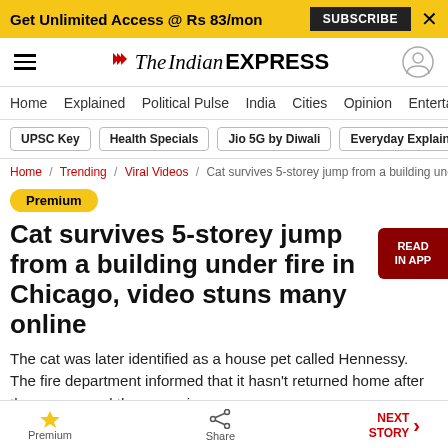Get Unlimited Access @ Rs 83/mon   SUBSCRIBE   X
The Indian EXPRESS
Home / Explained / Political Pulse / India / Cities / Opinion / Entertainment
UPSC Key | Health Specials | Jio 5G by Diwali | Everyday Explainers
Home / Trending / Viral Videos / Cat survives 5-storey jump from a building under
Premium
Cat survives 5-storey jump from a building under fire in Chicago, video stuns many online
The cat was later identified as a house pet called Hennessy. The fire department informed that it hasn't returned home after the escape and the owner is
Premium   Share   NEXT STORY